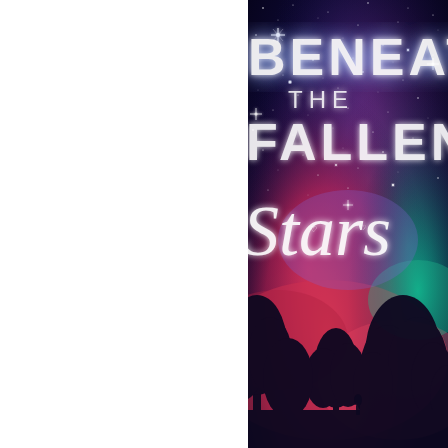[Figure (illustration): Book cover for 'Beneath the Fallen Stars' showing a vivid galaxy/nebula night sky with deep blues, purples, pinks, and reds, scattered stars and sparkles, silhouetted trees at the bottom. Large silver/white sans-serif text reads 'BENEATH THE FALLEN' at the top, and large cursive white text reads 'Stars' in the middle. The image is cropped on the right side. A white margin occupies the left portion of the page.]